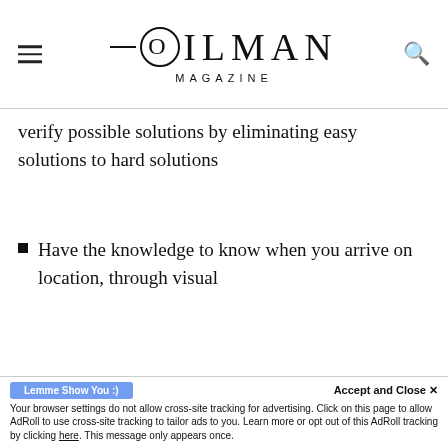OILMAN MAGAZINE
verify possible solutions by eliminating easy solutions to hard solutions
Have the knowledge to know when you arrive on location, through visual
[Figure (advertisement): PakEnergy advertisement showing a split image of a weak white rabbit vs strong wolf, with text: WEAK point solutions? NO THX! vs STRONG end-to-end? YESSSSS, I want PakEnergy]
Accept and Close ×
Your browser settings do not allow cross-site tracking for advertising. Click on this page to allow AdRoll to use cross-site tracking to tailor ads to you. Learn more or opt out of this AdRoll tracking by clicking here. This message only appears once.